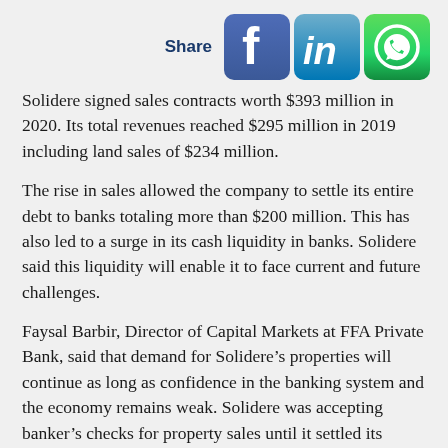[Figure (other): Share buttons row with Facebook, LinkedIn, and WhatsApp social media icons next to a bold blue 'Share' label]
Solidere signed sales contracts worth $393 million in 2020. Its total revenues reached $295 million in 2019 including land sales of $234 million.
The rise in sales allowed the company to settle its entire debt to banks totaling more than $200 million. This has also led to a surge in its cash liquidity in banks. Solidere said this liquidity will enable it to face current and future challenges.
Faysal Barbir, Director of Capital Markets at FFA Private Bank, said that demand for Solidere’s properties will continue as long as confidence in the banking system and the economy remains weak. Solidere was accepting banker’s checks for property sales until it settled its debts. This could lower its future sales,